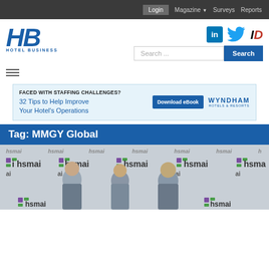Login  Magazine ▼  Surveys  Reports
[Figure (logo): HB Hotel Business logo in blue italic bold lettering]
[Figure (logo): LinkedIn, Twitter, and ID social media icons]
Search ...
[Figure (infographic): Hamburger menu icon (three horizontal lines)]
[Figure (infographic): Advertisement banner: FACED WITH STAFFING CHALLENGES? 32 Tips to Help Improve Your Hotel's Operations. Download eBook. Wyndham Hotels & Resorts.]
Tag: MMGY Global
[Figure (photo): Photo of three people standing in front of an HSMAI branded backdrop/step-and-repeat banner]